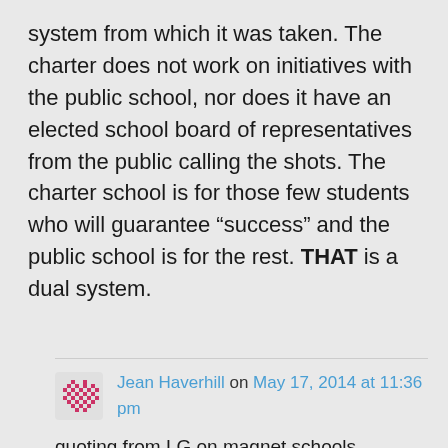system from which it was taken. The charter does not work on initiatives with the public school, nor does it have an elected school board of representatives from the public calling the shots. The charter school is for those few students who will guarantee “success” and the public school is for the rest. THAT is a dual system.
Jean Haverhill on May 17, 2014 at 11:36 pm
quoting from LG on magnet schools